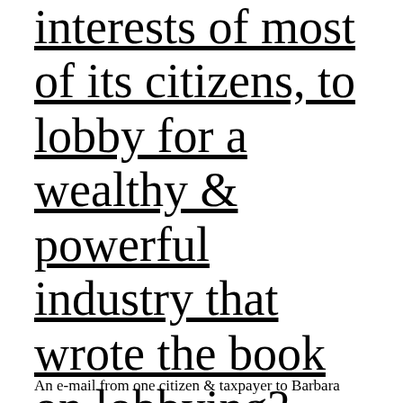interests of most of its citizens, to lobby for a wealthy & powerful industry that wrote the book on lobbying? (and does very, very well all by itself)
An e-mail from one citizen & taxpayer to Barbara